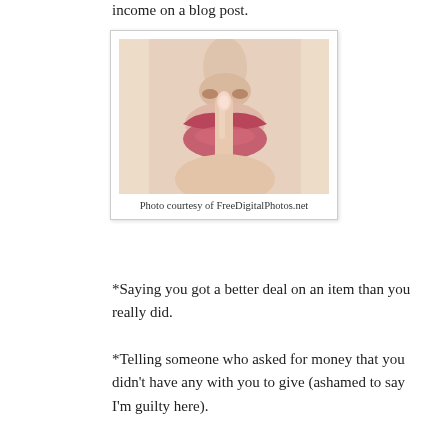income on a blog post.
[Figure (photo): Close-up photo of a person's face (nose and lips) with a finger held up to the lips in a 'shh' or silence gesture. Photo courtesy of FreeDigitalPhotos.net]
Photo courtesy of FreeDigitalPhotos.net
*Saying you got a better deal on an item than you really did.
*Telling someone who asked for money that you didn't have any with you to give (ashamed to say I'm guilty here).